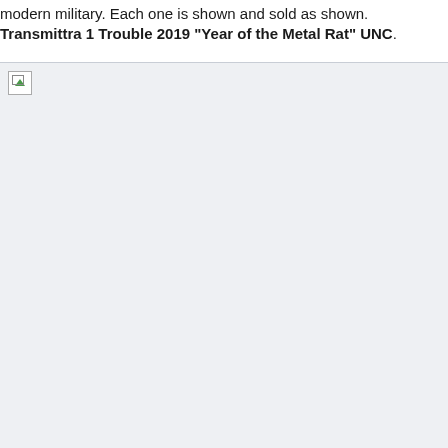modern military. Each one is shown and sold as shown. Transmittra 1 Trouble 2019 "Year of the Metal Rat" UNC.
[Figure (photo): Broken/unloaded image placeholder shown as a small icon with a green triangle, on a light grey background.]